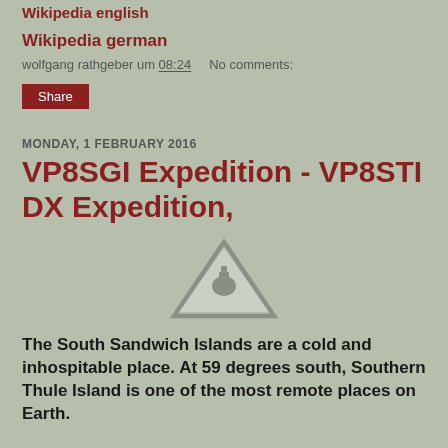Wikipedia english
Wikipedia german
wolfgang rathgeber um 08:24    No comments:
Share
MONDAY, 1 FEBRUARY 2016
VP8SGI Expedition - VP8STI DX Expedition,
[Figure (other): Warning/caution triangle icon with an exclamation mark or similar symbol inside, rendered in gray tones]
The South Sandwich Islands are a cold and inhospitable place. At 59 degrees south, Southern Thule Island is one of the most remote places on Earth.